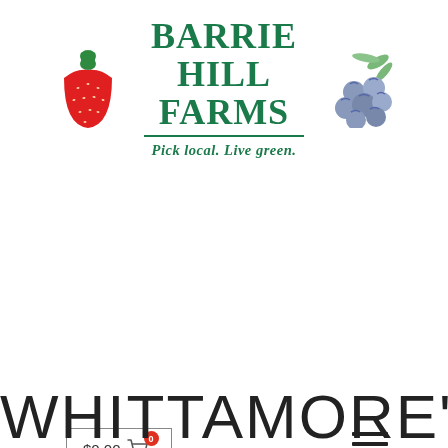[Figure (logo): Barrie Hill Farms logo with strawberry on left, blueberry cluster on right, arched green text reading BARRIE HILL FARMS, horizontal divider line, italic tagline Pick local. Live green.]
[Figure (other): Shopping cart button showing $0.00 with red badge showing 0, and hamburger menu icon (three horizontal lines)]
WHITTAMORE'S